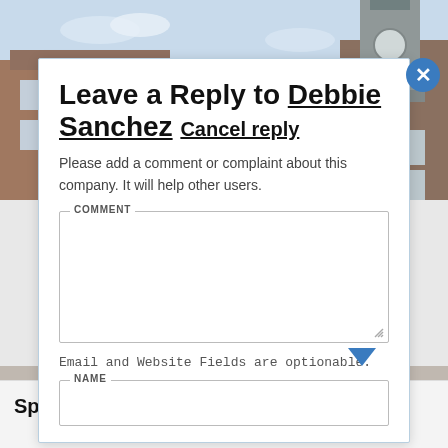[Figure (photo): Background photo of university campus buildings with clock tower under blue sky]
Leave a Reply to Debbie Sanchez Cancel reply
Please add a comment or complaint about this company. It will help other users.
Email and Website Fields are optionable.
Sprint Executive Team.